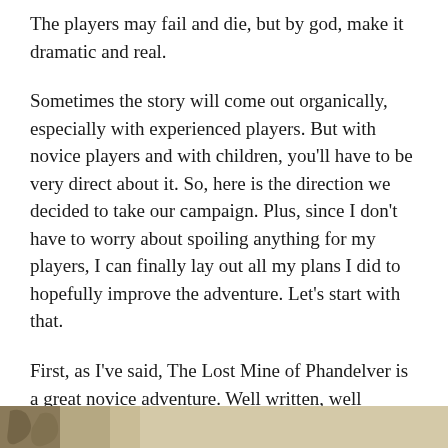The players may fail and die, but by god, make it dramatic and real.
Sometimes the story will come out organically, especially with experienced players. But with novice players and with children, you'll have to be very direct about it. So, here is the direction we decided to take our campaign. Plus, since I don't have to worry about spoiling anything for my players, I can finally lay out all my plans I did to hopefully improve the adventure. Let's start with that.
First, as I've said, The Lost Mine of Phandelver is a great novice adventure. Well written, well balanced, and certainly worth the price. Its only real flaws are the villain and his plan, and motivating the players to involve themselves in this story.
[Figure (photo): Partial image at the bottom of the page, showing the beginning of an illustration or photo (only top edge visible).]